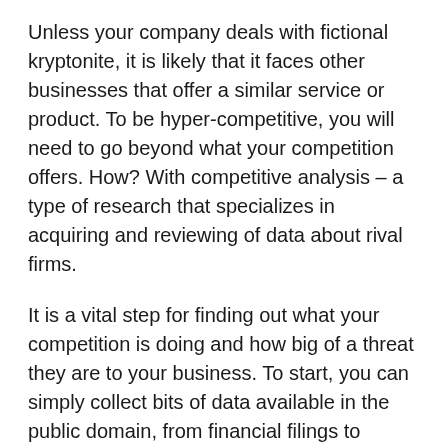Unless your company deals with fictional kryptonite, it is likely that it faces other businesses that offer a similar service or product. To be hyper-competitive, you will need to go beyond what your competition offers. How? With competitive analysis – a type of research that specializes in acquiring and reviewing of data about rival firms.
It is a vital step for finding out what your competition is doing and how big of a threat they are to your business. To start, you can simply collect bits of data available in the public domain, from financial filings to reports from accounting firms. You can also find local and national news articles about them or go to online databases from government sources like the U.S. Securities and Exchange Commission.
Success can be followed. As an entrepreneur, you don't